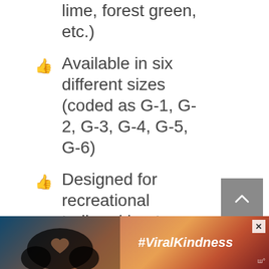lime, forest green, etc.)
Available in six different sizes (coded as G-1, G-2, G-3, G-4, G-5, G-6)
Designed for recreational trailered boats
Comes readily inflated, doesn't require much effort to prepare before using.
Buoyant fenders can stay on the
[Figure (screenshot): Ad banner at the bottom with #ViralKindness text and a silhouette of hands forming a heart shape against a sunset background]